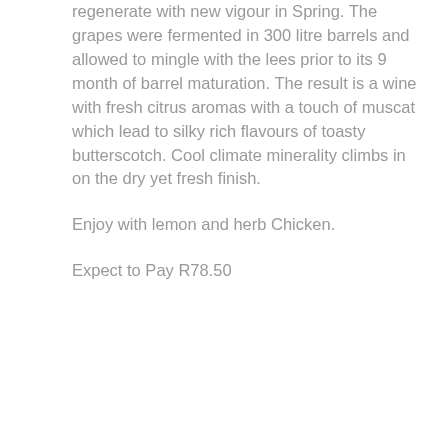regenerate with new vigour in Spring. The grapes were fermented in 300 litre barrels and allowed to mingle with the lees prior to its 9 month of barrel maturation. The result is a wine with fresh citrus aromas with a touch of muscat which lead to silky rich flavours of toasty butterscotch. Cool climate minerality climbs in on the dry yet fresh finish.
Enjoy with lemon and herb Chicken.
Expect to Pay R78.50